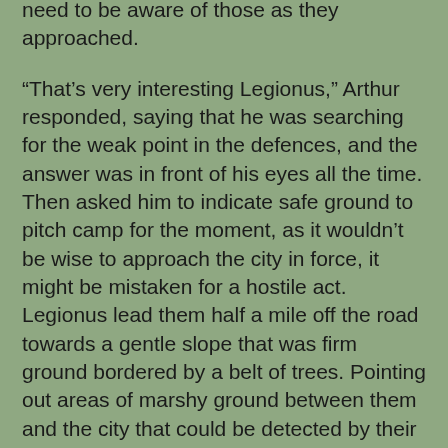need to be aware of those as they approached.
“That’s very interesting Legionus,” Arthur responded, saying that he was searching for the weak point in the defences, and the answer was in front of his eyes all the time. Then asked him to indicate safe ground to pitch camp for the moment, as it wouldn’t be wise to approach the city in force, it might be mistaken for a hostile act. Legionus lead them half a mile off the road towards a gentle slope that was firm ground bordered by a belt of trees. Pointing out areas of marshy ground between them and the city that could be detected by their darker green colour and thicker grass and vegetation. No sooner had they stopped when Berius told Arthur that a group of horsemen were approaching from the direction of the city, no doubt to discover their intentions as they had obviously been seen by the city guards.
The horsemen brought their mounts to a stop before Arthur and the other kings and the one in the lead spoke.
“My lords I am Dubrovus of the Sarmatian legion, my Lord Peredur, Duke of Eboracum extends his welcome and